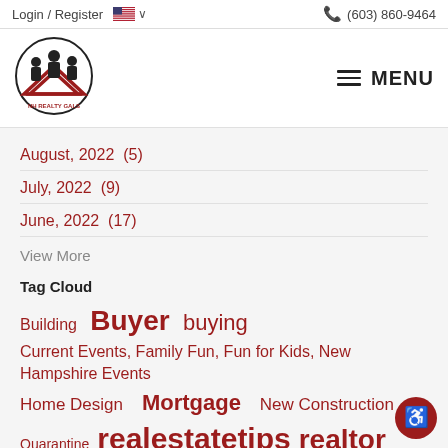Login / Register   🇺🇸 ∨   (603) 860-9464
[Figure (logo): NH Realty Gals circular logo with silhouettes of people and a house roofline]
August, 2022  (5)
July, 2022  (9)
June, 2022  (17)
View More
Tag Cloud
Building  Buyer  buying
Current Events, Family Fun, Fun for Kids, New Hampshire Events
Home Design   Mortgage   New Construction
Quarantine   realestatetips   realtor   Seller